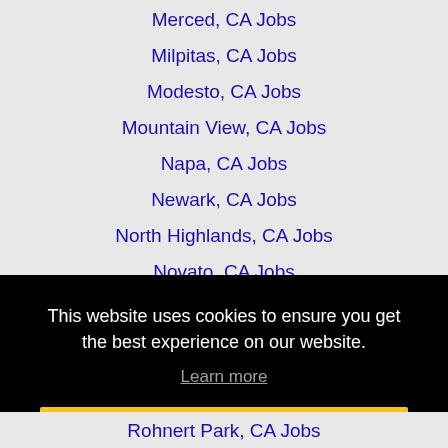Merced, CA Jobs
Milpitas, CA Jobs
Modesto, CA Jobs
Mountain View, CA Jobs
Napa, CA Jobs
Newark, CA Jobs
North Highlands, CA Jobs
Novato, CA Jobs
Oakland, CA Jobs
This website uses cookies to ensure you get the best experience on our website.
Learn more
Got it!
Rohnert Park, CA Jobs